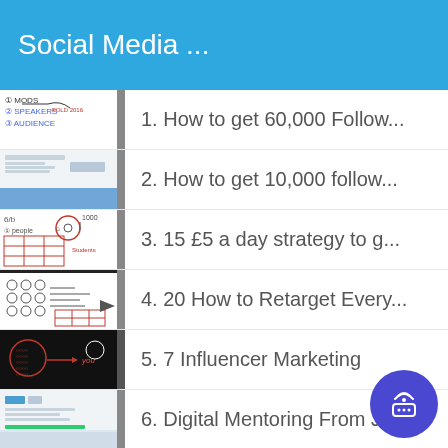Social Media ...
1. How to get 60,000 Follow...
2. How to get 10,000 follow...
3. 15 £5 a day strategy to g...
4. 20 How to Retarget Every...
5. 7 Influencer Marketing
6. Digital Mentoring From Jo...